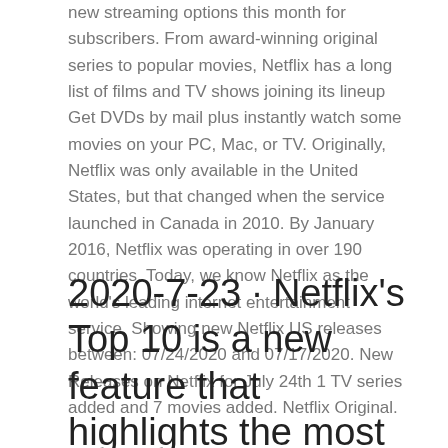new streaming options this month for subscribers. From award-winning original series to popular movies, Netflix has a long list of films and TV shows joining its lineup Get DVDs by mail plus instantly watch some movies on your PC, Mac, or TV. Originally, Netflix was only available in the United States, but that changed when the service launched in Canada in 2010. By January 2016, Netflix was operating in over 190 countries. Today, we know Netflix as the world's leading internet entertainment service. Showing new Netflix US releases between: 07/24/2020 and 07/17/2020. New Releases on Netflix for July 24th 1 TV series added and 7 movies added. Netflix Original.
2020-7-23 · Netflix's Top 10 is a new feature that highlights the most popular movies and shows on the platform in real time Right now the